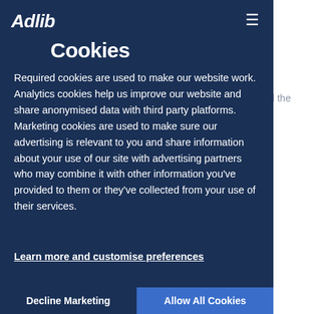Adlib
Cookies
Required cookies are used to make our website work. Analytics cookies help us improve our website and share anonymised data with third party platforms. Marketing cookies are used to make sure our advertising is relevant to you and share information about your use of our site with advertising partners who may combine it with other information you've provided to them or they've collected from your use of their services.
Learn more and customise preferences
Decline Marketing
Allow All Cookies